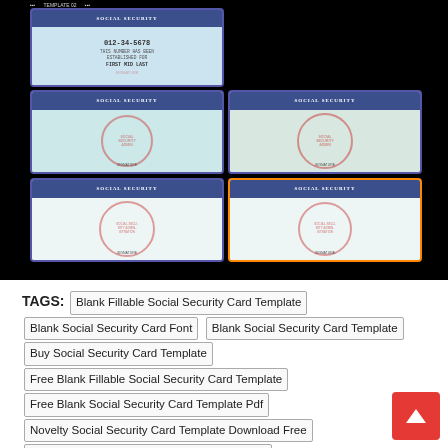[Figure (screenshot): Gallery of Social Security card templates on black background. Shows 5 card thumbnails: one filled card with sample SSN '012-34-5678' and name 'FIRST MID LAST', and four blank Social Security card templates with SSA seal watermarks. Bottom-right card has orange border indicating selection.]
TAGS: Blank Fillable Social Security Card Template  Blank Social Security Card Font  Blank Social Security Card Template  Buy Social Security Card Template  Free Blank Fillable Social Security Card Template  Free Blank Social Security Card Template Pdf  Novelty Social Security Card Template Download Free  Social Security Card Template Front And Back  Social Security Card Template Pdf Free